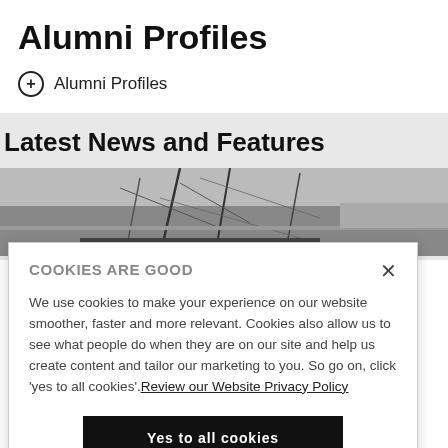Alumni Profiles
+ Alumni Profiles
Latest News and Features
[Figure (photo): Black and white photograph of sailing boat masts and rigging against a light sky]
COOKIES ARE GOOD
We use cookies to make your experience on our website smoother, faster and more relevant. Cookies also allow us to see what people do when they are on our site and help us create content and tailor our marketing to you. So go on, click 'yes to all cookies'. Review our Website Privacy Policy
Yes to all cookies